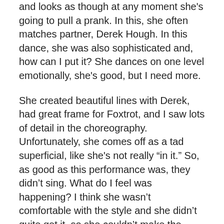and looks as though at any moment she's going to pull a prank. In this, she often matches partner, Derek Hough. In this dance, she was also sophisticated and, how can I put it? She dances on one level emotionally, she's good, but I need more.
She created beautiful lines with Derek, had great frame for Foxtrot, and I saw lots of detail in the choreography. Unfortunately, she comes off as a tad superficial, like she's not really “in it.” So, as good as this performance was, they didn’t sing. What do I feel was happening? I think she wasn’t comfortable with the style and she didn’t quite get it, so she couldn’t make the dance hers. The technique can be perfect and yet, the dance itself can be empty. I’ll put this one on Derek… more contrast and color, please. If I were him, I’d spend some time having Maria play with nuances – with finding something that resonates and